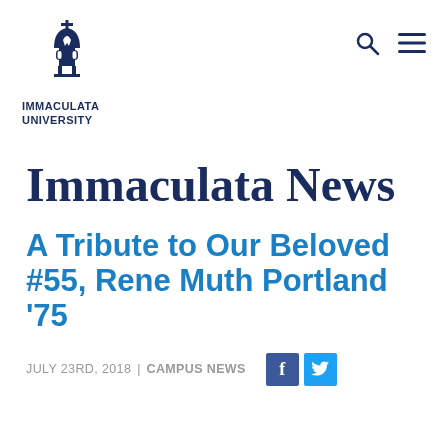[Figure (logo): Immaculata University logo with chapel dome icon and bold text 'IMMACULATA UNIVERSITY']
Immaculata News
A Tribute to Our Beloved #55, Rene Muth Portland '75
JULY 23RD, 2018 | CAMPUS NEWS